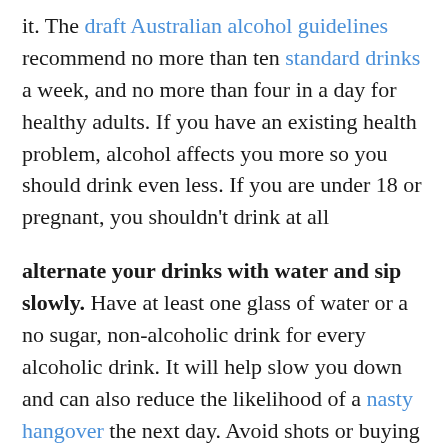it. The draft Australian alcohol guidelines recommend no more than ten standard drinks a week, and no more than four in a day for healthy adults. If you have an existing health problem, alcohol affects you more so you should drink even less. If you are under 18 or pregnant, you shouldn't drink at all
alternate your drinks with water and sip slowly. Have at least one glass of water or a no sugar, non-alcoholic drink for every alcoholic drink. It will help slow you down and can also reduce the likelihood of a nasty hangover the next day. Avoid shots or buying rounds, so you can comfortably sit on your drinks and sip them slowly
eat before and during drinking. This will help slow your drinking down and also slows the absorption of alcohol.